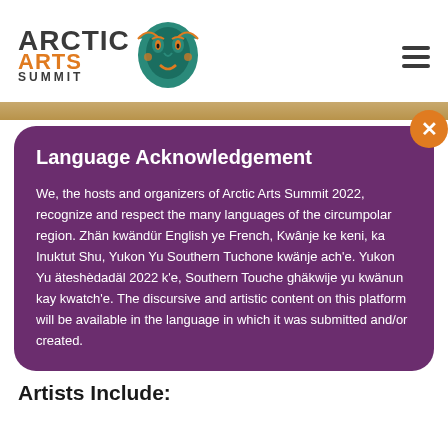[Figure (logo): Arctic Arts Summit logo with teal indigenous mask icon and text 'ARCTIC ARTS SUMMIT']
Language Acknowledgement
We, the hosts and organizers of Arctic Arts Summit 2022, recognize and respect the many languages of the circumpolar region. Zhän kwändür English ye French, Kwânje ke keni, ka Inuktut Shu, Yukon Yu Southern Tuchone kwänje ach'e. Yukon Yu äteshèdadäl 2022 k'e, Southern Touche ghäkwije yu kwänun kay kwatch'e. The discursive and artistic content on this platform will be available in the language in which it was submitted and/or created.
Artists Include: